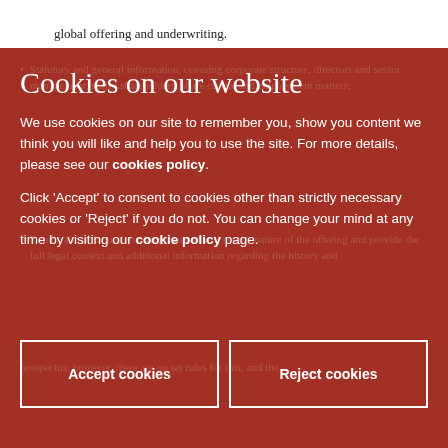global offering and underwriting.
Cookies on our website
We use cookies on our site to remember you, show you content we think you will like and help you to use the site. For more details, please see our cookies policy.
Click 'Accept' to consent to cookies other than strictly necessary cookies or 'Reject' if you do not. You can change your mind at any time by visiting our cookie policy page.
Accept cookies
Reject cookies
prospectus; however, there are no set rules for this, and the